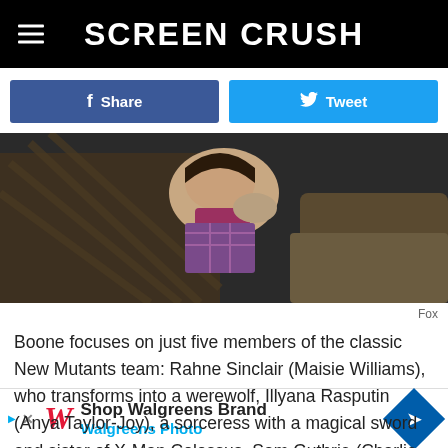SCREEN CRUSH
[Figure (logo): Facebook Share button (blue) and Twitter Tweet button (light blue) side by side]
[Figure (photo): Scene from New Mutants film showing a person being choked or grabbed, dark moody lighting]
Fox
Boone focuses on just five members of the classic New Mutants team: Rahne Sinclair (Maisie Williams), who transforms into a werewolf, Illyana Rasputin (Anya Taylor-Joy), a sorceress with a magical sword and sister of X-Man Colossus. Sam Guthrie (Charlie Heaton), who can fly like a rocket, and mo…wers
[Figure (other): Walgreens Brand / Walgreens Photo advertisement banner at bottom of page]